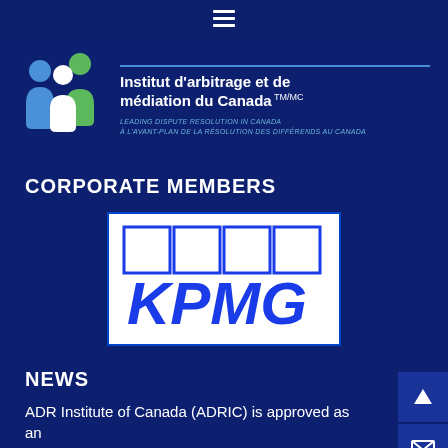Navigation menu (hamburger icon)
[Figure (logo): ADR Institute of Canada logo with stylized figures and text: Institut d'arbitrage et de médiation du Canada TM/MC. Tagline: LEADING DISPUTE RESOLUTION IN CANADA / À L'AVANT-PLAN DE LA RÉSOLUTION DES DIFFÉRENDS AU CANADA]
CORPORATE MEMBERS
[Figure (logo): KPMG logo - blue text KPMG with four blue squares on white background]
NEWS
ADR Institute of Canada (ADRIC) is approved as an